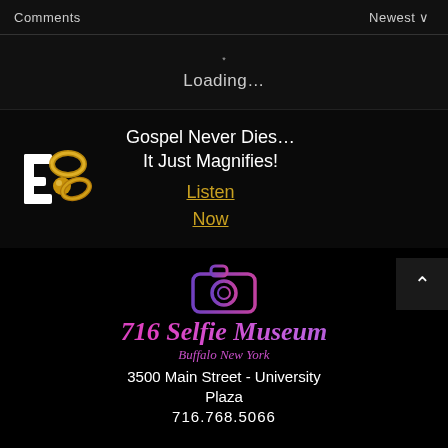Comments    Newest
Loading…
[Figure (logo): BGN (Black Gospel Network) logo with gold rings and white letters]
Gospel Never Dies… It Just Magnifies!
Listen Now
[Figure (logo): 716 Selfie Museum logo with camera icon outline in purple/pink gradient, script text, Buffalo New York subtitle]
3500 Main Street - University Plaza
716.768.5066